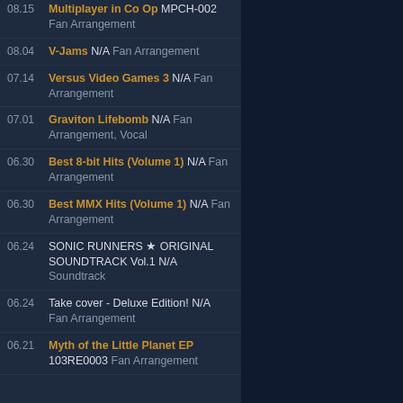08.15 Multiplayer in Co Op MPCH-002 Fan Arrangement
08.04 V-Jams N/A Fan Arrangement
07.14 Versus Video Games 3 N/A Fan Arrangement
07.01 Graviton Lifebomb N/A Fan Arrangement, Vocal
06.30 Best 8-bit Hits (Volume 1) N/A Fan Arrangement
06.30 Best MMX Hits (Volume 1) N/A Fan Arrangement
06.24 SONIC RUNNERS ★ ORIGINAL SOUNDTRACK Vol.1 N/A Soundtrack
06.24 Take cover - Deluxe Edition! N/A Fan Arrangement
06.21 Myth of the Little Planet EP 103RE0003 Fan Arrangement